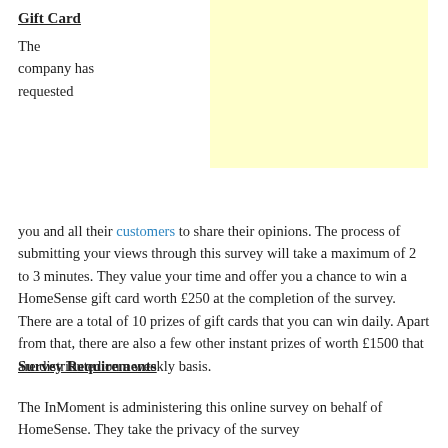Gift Card
[Figure (other): Yellow highlighted box placeholder]
The company has requested you and all their customers to share their opinions. The process of submitting your views through this survey will take a maximum of 2 to 3 minutes. They value your time and offer you a chance to win a HomeSense gift card worth £250 at the completion of the survey. There are a total of 10 prizes of gift cards that you can win daily. Apart from that, there are also a few other instant prizes of worth £1500 that are distributed on a weekly basis.
Survey Requirements
The InMoment is administering this online survey on behalf of HomeSense. They take the privacy of the survey